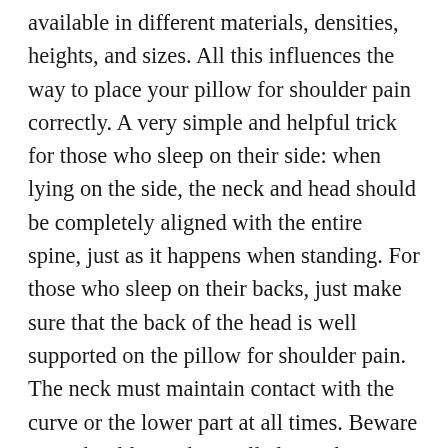available in different materials, densities, heights, and sizes. All this influences the way to place your pillow for shoulder pain correctly. A very simple and helpful trick for those who sleep on their side: when lying on the side, the neck and head should be completely aligned with the entire spine, just as it happens when standing. For those who sleep on their backs, just make sure that the back of the head is well supported on the pillow for shoulder pain. The neck must maintain contact with the curve or the lower part at all times. Beware your shoulders! They will always have to rest on the mattress. Some pillows for shoulder pain in a wavy shape are not advisable to sleep on your stomach. This makes sense because the curvature that normally supports the cervical would press the throat, causing us to flex the neck in the opposite position. Other pillows with a less pronounced curvature could be advisable for sleeping